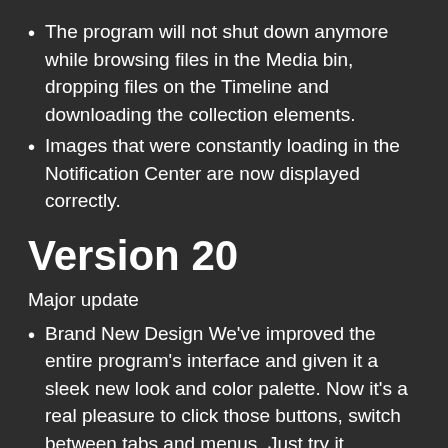The program will not shut down anymore while browsing files in the Media bin, dropping files on the Timeline and downloading the collection elements.
Images that were constantly loading in the Notification Center are now displayed correctly.
Version 20
Major update
Brand New Design We've improved the entire program's interface and given it a sleek new look and color palette. Now it's a real pleasure to click those buttons, switch between tabs and menus. Just try it.
Media Bin Managing your files becomes easier than ever. Now when you add videos or images, they will be stored in your media bin right within the program. The